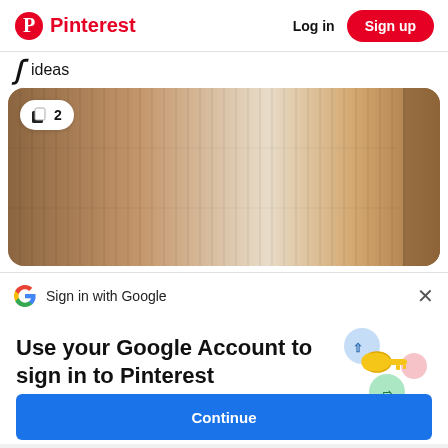Pinterest  Log in  Sign up
ideas
[Figure (photo): Tiled wall with vertical ribbed texture in warm beige/brown tones with a badge overlay showing a copy icon and the number 2]
Sign in with Google
Use your Google Account to sign in to Pinterest
No more passwords to remember.
Signing in is fast, simple and secure.
[Figure (illustration): Google passkey illustration showing a golden key with colorful circular icons]
Continue